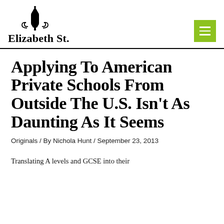Elizabeth St.
Applying To American Private Schools From Outside The U.S. Isn't As Daunting As It Seems
Originals / By Nichola Hunt / September 23, 2013
Translating A levels and GCSE into their